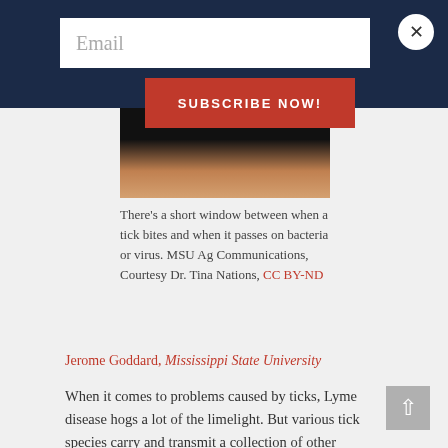Email
SUBSCRIBE NOW!
[Figure (photo): Close-up photo showing a skin/forearm area, partial view, dark background at top transitioning to skin tones.]
There's a short window between when a tick bites and when it passes on bacteria or virus. MSU Ag Communications, Courtesy Dr. Tina Nations, CC BY-ND
Jerome Goddard, Mississippi State University
When it comes to problems caused by ticks, Lyme disease hogs a lot of the limelight. But various tick species carry and transmit a collection of other